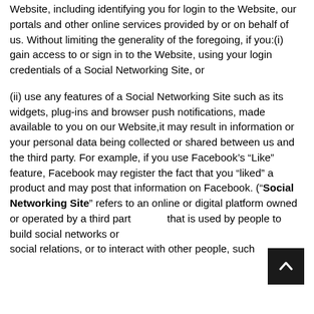Website, including identifying you for login to the Website, our portals and other online services provided by or on behalf of us. Without limiting the generality of the foregoing, if you:(i) gain access to or sign in to the Website, using your login credentials of a Social Networking Site, or
(ii) use any features of a Social Networking Site such as its widgets, plug-ins and browser push notifications, made available to you on our Website,it may result in information or your personal data being collected or shared between us and the third party. For example, if you use Facebook’s “Like” feature, Facebook may register the fact that you “liked” a product and may post that information on Facebook. (“Social Networking Site” refers to an online or digital platform owned or operated by a third party that is used by people to build social networks or social relations, or to interact with other people, such